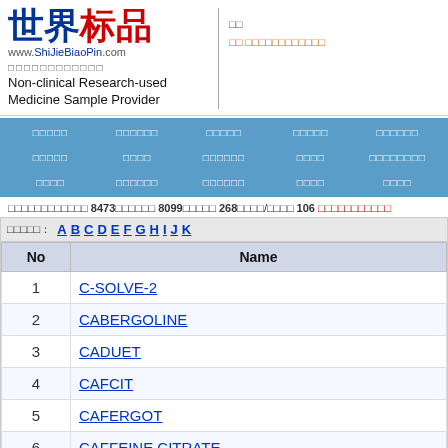[Figure (logo): ShiJieBiaoPin logo with Chinese characters and website URL]
Non-clinical Research-used Medicine Sample Provider
统计 | 联系 统计电话/传真联系我们
| No | Name |
| --- | --- |
| 1 | C-SOLVE-2 |
| 2 | CABERGOLINE |
| 3 | CADUET |
| 4 | CAFCIT |
| 5 | CAFERGOT |
| 6 | CAFFEINE CITRATE |
共有产品数量 8473个 产品编号 8099个 厂家数量 268个 剂型/规格 106 联系电话传真地址